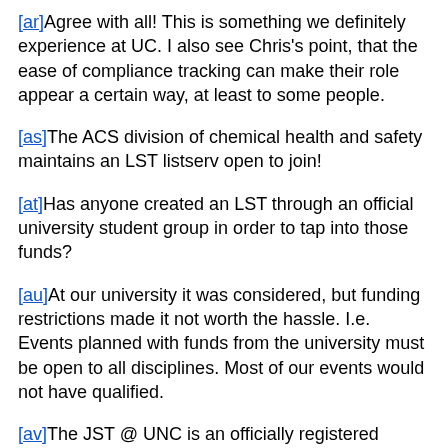[ar]Agree with all! This is something we definitely experience at UC. I also see Chris's point, that the ease of compliance tracking can make their role appear a certain way, at least to some people.
[as]The ACS division of chemical health and safety maintains an LST listserv open to join!
[at]Has anyone created an LST through an official university student group in order to tap into those funds?
[au]At our university it was considered, but funding restrictions made it not worth the hassle. I.e. Events planned with funds from the university must be open to all disciplines. Most of our events would not have qualified.
[av]The JST @ UNC is an officially registered student group with the university for this purpose. We're still new and